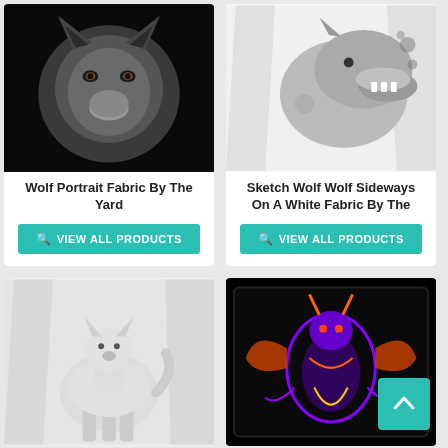[Figure (photo): Wolf portrait close-up on black background, grayscale]
Wolf Portrait Fabric By The Yard
VIEW ALL PRODUCTS
[Figure (photo): Sketch wolf sideways on a white fabric, roaring wolf illustration]
Sketch Wolf Wolf Sideways On A White Fabric By The
VIEW ALL PRODUCTS
[Figure (photo): White wolf standing on a white draped fabric]
[Figure (photo): Colorful neon wolf illustration on black pillow with scroll-to-top button overlay]